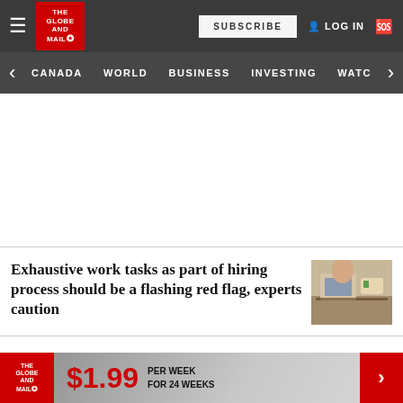Globe and Mail — CANADA | WORLD | BUSINESS | INVESTING | WATC
Exhaustive work tasks as part of hiring process should be a flashing red flag, experts caution
Death of Bed Bath & Beyond CFO
$1.99 PER WEEK FOR 24 WEEKS